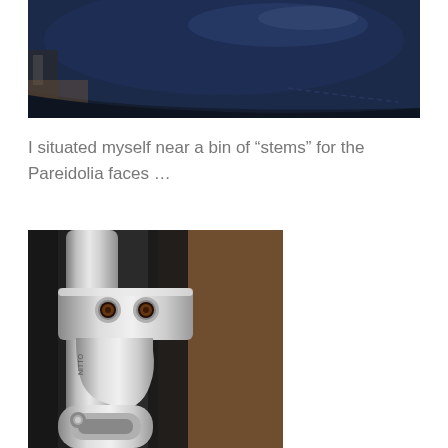[Figure (photo): Close-up photo of a blue vinyl bicycle saddle/seat, showing the shiny dark navy blue surface and stitching along the edge. Background shows bicycle parts and a workbench environment.]
I situated myself near a bin of “stems” for the Pareidolia faces …
[Figure (photo): Close-up photo of a silver/chrome bicycle stem showing two bolt holes on the top clamp that resemble eyes, giving the component a face-like appearance (pareidolia). The stem is metallic silver with visible branding text, set against a background of other bicycle parts and a wooden surface.]